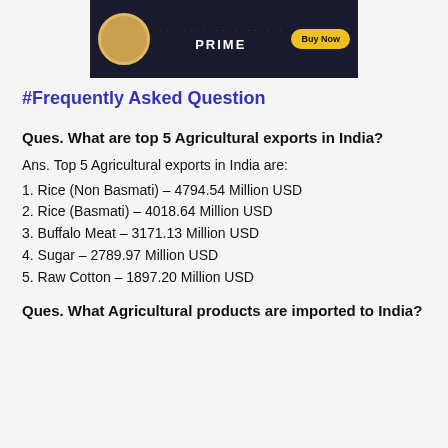[Figure (screenshot): Amazon Prime advertisement banner with dark background, circular logo, PRIME text, and Buy Now yellow button]
#Frequently Asked Question
Ques. What are top 5 Agricultural exports in India?
Ans. Top 5 Agricultural exports in India are:
1. Rice (Non Basmati) – 4794.54 Million USD
2. Rice (Basmati) – 4018.64 Million USD
3. Buffalo Meat – 3171.13 Million USD
4. Sugar – 2789.97 Million USD
5. Raw Cotton – 1897.20 Million USD
Ques. What Agricultural products are imported to India?